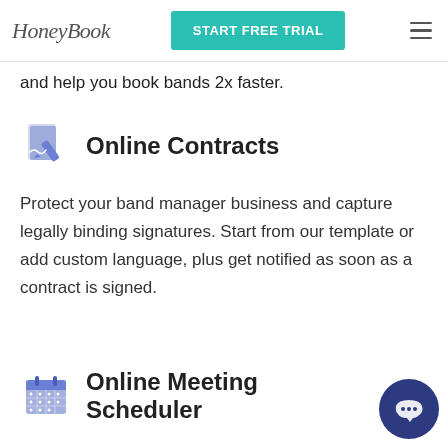HoneyBook | START FREE TRIAL
and help you book bands 2x faster.
Online Contracts
Protect your band manager business and capture legally binding signatures. Start from our template or add custom language, plus get notified as soon as a contract is signed.
Online Meeting Scheduler